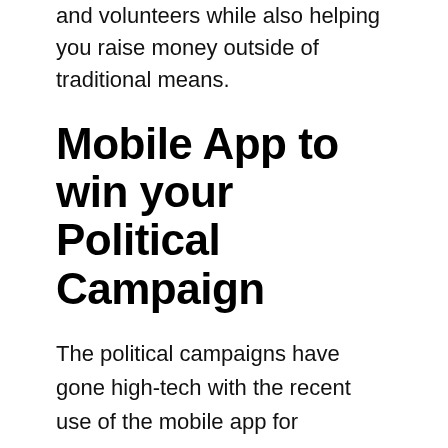and volunteers while also helping you raise money outside of traditional means.
Mobile App to win your Political Campaign
The political campaigns have gone high-tech with the recent use of the mobile app for campaigning. The use of technology has significantly decreased the cost of campaigning, and it has also reduced the contact